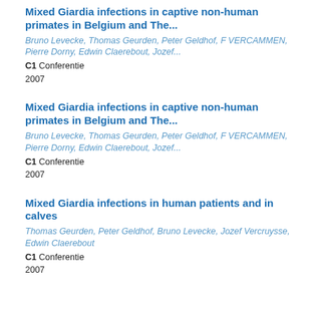Mixed Giardia infections in captive non-human primates in Belgium and The...
Bruno Levecke, Thomas Geurden, Peter Geldhof, F VERCAMMEN, Pierre Dorny, Edwin Claerebout, Jozef...
C1 Conferentie
2007
Mixed Giardia infections in captive non-human primates in Belgium and The...
Bruno Levecke, Thomas Geurden, Peter Geldhof, F VERCAMMEN, Pierre Dorny, Edwin Claerebout, Jozef...
C1 Conferentie
2007
Mixed Giardia infections in human patients and in calves
Thomas Geurden, Peter Geldhof, Bruno Levecke, Jozef Vercruysse, Edwin Claerebout
C1 Conferentie
2007